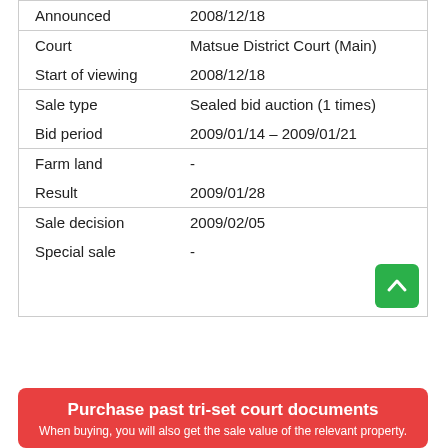| Field | Value |
| --- | --- |
| Announced | 2008/12/18 |
| Court | Matsue District Court (Main) |
| Start of viewing | 2008/12/18 |
| Sale type | Sealed bid auction (1 times) |
| Bid period | 2009/01/14 – 2009/01/21 |
| Farm land | - |
| Result | 2009/01/28 |
| Sale decision | 2009/02/05 |
| Special sale | - |
Purchase past tri-set court documents
When buying, you will also get the sale value of the relevant property.